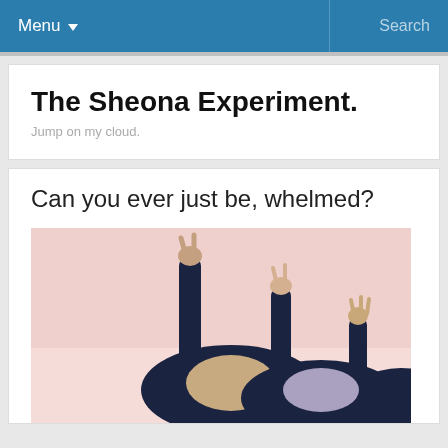Menu   Search
The Sheona Experiment.
Jump on my cloud.
Can you ever just be, whelmed?
[Figure (photo): Three people with arms raised making peace signs against a pink/blush background, photographed from behind, wearing dark clothing.]